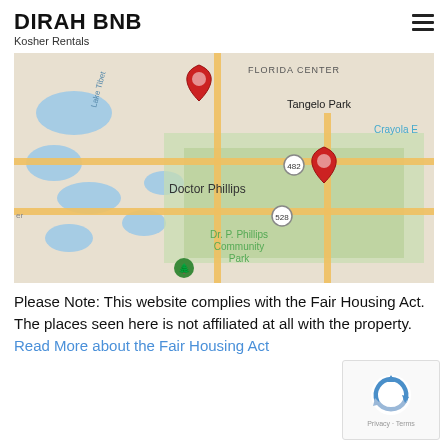DIRAH BNB
Kosher Rentals
[Figure (map): Google Maps screenshot showing Doctor Phillips area in Florida with two red location pin markers. Labels visible include Florida Center, Tangelo Park, Crayola, Dr. P. Phillips Community Park, and highway markers 482 and 528.]
Please Note: This website complies with the Fair Housing Act. The places seen here is not affiliated at all with the property. Read More about the Fair Housing Act
[Figure (logo): reCAPTCHA widget with blue/grey circular arrow logo and Privacy · Terms text below]